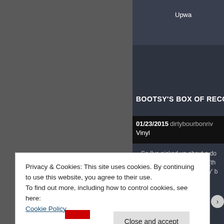Upwa
BOOTSY'S BOX OF RECORDS P
01/23/2015    dirtybourbonriv
Vinyl
So I've picked up about a do stores and some as gifts (th Beatles records!), and they' b
Privacy & Cookies: This site uses cookies. By continuing to use this website, you agree to their use.
To find out more, including how to control cookies, see here:
Cookie Policy
Close and accept